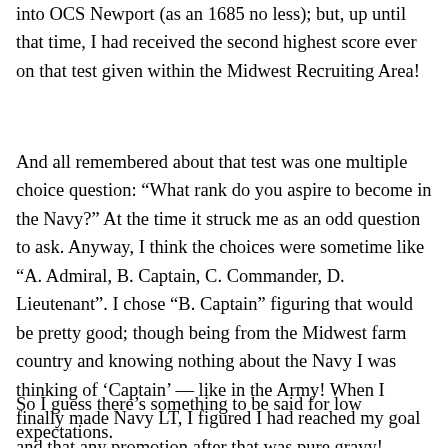into OCS Newport (as an 1685 no less); but, up until that time, I had received the second highest score ever on that test given within the Midwest Recruiting Area!
And all remembered about that test was one multiple choice question: “What rank do you aspire to become in the Navy?” At the time it struck me as an odd question to ask. Anyway, I think the choices were sometime like “A. Admiral, B. Captain, C. Commander, D. Lieutenant”. I chose “B. Captain” figuring that would be pretty good; though being from the Midwest farm country and knowing nothing about the Navy I was thinking of ‘Captain’ — like in the Army! When I finally made Navy LT, I figured I had reached my goal and that any promotion after that was pure gravy!
So I guess there’s something to be said for low expectations.